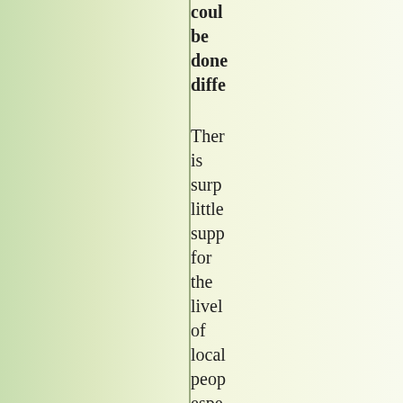could be done diffe[rently]
There is surprisingly little support for the livelihoods of local people especially those that have innovated and environmentally friendly ideas. Recently the...